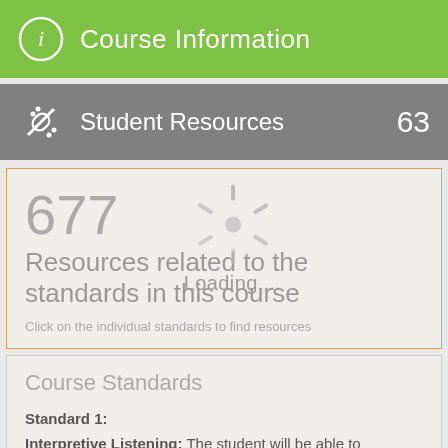Course Information
Student Resources 63
677
Resources related to the standards in this course
Click on the individual standards to find resources
[Figure (other): Loading spinner animation overlay with text 'Loading....']
Course Standards
Standard 1:
Interpretive Listening: The student will be able to understand and interpret information, concepts, and ideas orally from culturally authentic sources on a variety of topics in the target